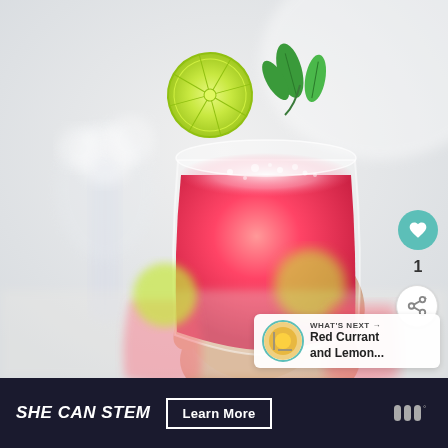[Figure (photo): A hand holding a short glass filled with a red/pink frozen watermelon slush drink, garnished with a lime slice and fresh mint leaves on top. In the background there are white flowers in a glass vase. In the foreground, blurred glasses with lime slices and pink drinks are visible.]
1
WHAT'S NEXT → Red Currant and Lemon...
SHE CAN STEM  Learn More